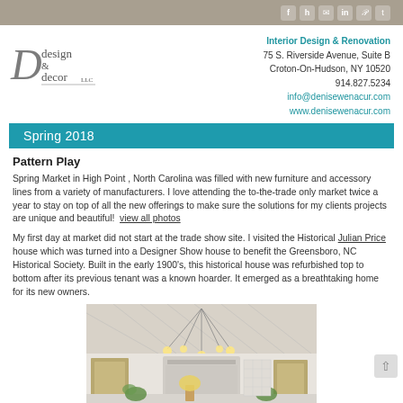Social media icons bar (Facebook, houzz, email, LinkedIn, Pinterest, Twitter)
[Figure (logo): D design & decor llc logo in cursive/serif style]
Interior Design & Renovation
75 S. Riverside Avenue, Suite B
Croton-On-Hudson, NY 10520
914.827.5234
info@denisewenacur.com
www.denisewenacur.com
Spring  2018
Pattern Play
Spring Market in High Point , North Carolina was filled with new furniture and accessory lines from a variety of manufacturers. I love attending the to-the-trade only market twice a year to stay on top of all the new offerings to make sure the solutions for my clients projects are unique and beautiful!   view all photos
My first day at market did not start at the trade show site. I visited the Historical Julian Price house  which was turned into a Designer Show house to benefit the Greensboro, NC Historical Society. Built in the early 1900's, this historical house was refurbished top to bottom after its previous tenant was a known hoarder. It emerged as a breathtaking home for its new owners.
[Figure (photo): Interior kitchen photo showing decorative ceiling with pendant lights, white range hood, and floral arrangements on the counter]